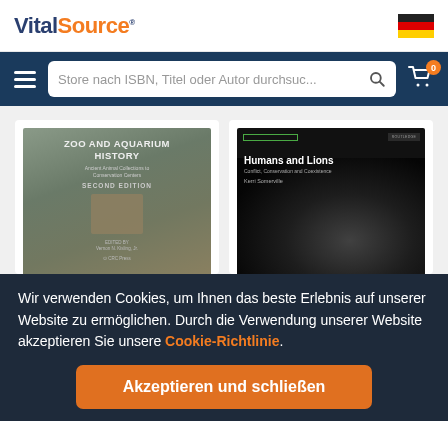[Figure (logo): VitalSource logo with 'Vital' in dark blue and 'Source' in orange, with registered trademark symbol]
[Figure (illustration): German flag icon in the top right corner]
Store nach ISBN, Titel oder Autor durchsuc...
[Figure (photo): Book cover: Zoo and Aquarium History - Ancient Animal Collections to Conservation Centers, Second Edition, edited by Vernon N. Kisling, Jr., CRC Press]
[Figure (photo): Book cover: Humans and Lions - Conflict, Conservation and Coexistence by Kert Somerville, dark cover with lion photo]
Wir verwenden Cookies, um Ihnen das beste Erlebnis auf unserer Website zu ermöglichen. Durch die Verwendung unserer Website akzeptieren Sie unsere Cookie-Richtlinie.
Akzeptieren und schließen